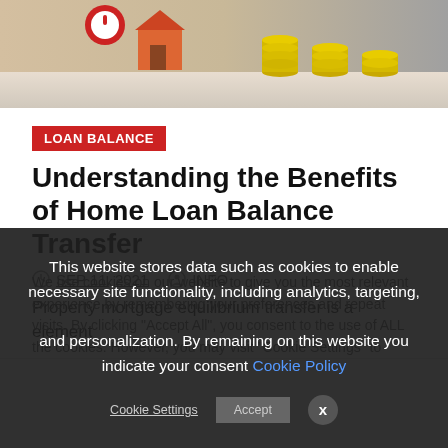[Figure (photo): Hero image showing stacks of coins and a small house model with a red clock/alarm icon, suggesting home loan or mortgage concept]
LOAN BALANCE
Understanding the Benefits of Home Loan Balance Transfer
SEP 11, 2021   INFO
Property mortgage equilibrium transfer is a element
We use cookies on our website to give you the most relevant experience by remembering your preferences and repeat visits. By clicking "Accept All", you consent to the use of ALL the cookies. However, you may visit "Cookie Settings" to
This website stores data such as cookies to enable necessary site functionality, including analytics, targeting, and personalization. By remaining on this website you indicate your consent Cookie Policy